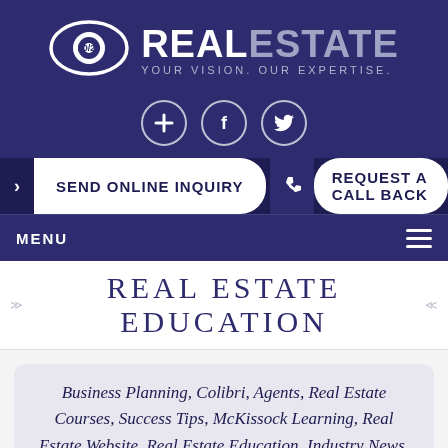[Figure (logo): 20/20 Real Estate logo with eye icon. Tagline: YOUR VISION. OUR EXPERTISE.]
[Figure (infographic): Three circular social icons: plus/add, Facebook f, Twitter bird]
SEND ONLINE INQUIRY
REQUEST A CALL BACK
MENU
REAL ESTATE EDUCATION
Business Planning, Colibri, Agents, Real Estate Courses, Success Tips, McKissock Learning, Real Estate Website, Real Estate Education, Industry News, Marketing, Technology, Real Estate Marketing, Real Estate Technology, Real Estate...